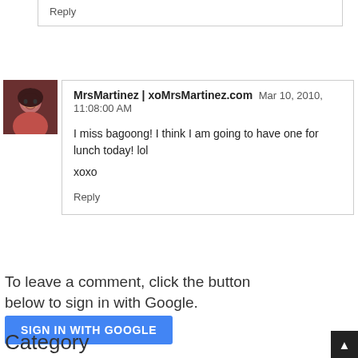Reply
[Figure (photo): Avatar photo of MrsMartinez, a woman with dark hair wearing a red top]
MrsMartinez | xoMrsMartinez.com  Mar 10, 2010, 11:08:00 AM
I miss bagoong! I think I am going to have one for lunch today! lol
xoxo
Reply
To leave a comment, click the button below to sign in with Google.
[Figure (other): SIGN IN WITH GOOGLE button]
Category